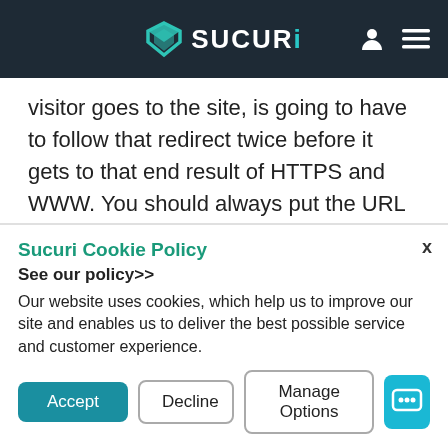SUCURI
visitor goes to the site, is going to have to follow that redirect twice before it gets to that end result of HTTPS and WWW. You should always put the URL in the code that it ends up being, that way the browser doesn't have to follow multiple redirects. Just increasing that page loading time for unnecessary reason.
Sucuri Cookie Policy
See our policy>>
Our website uses cookies, which help us to improve our site and enables us to deliver the best possible service and customer experience.